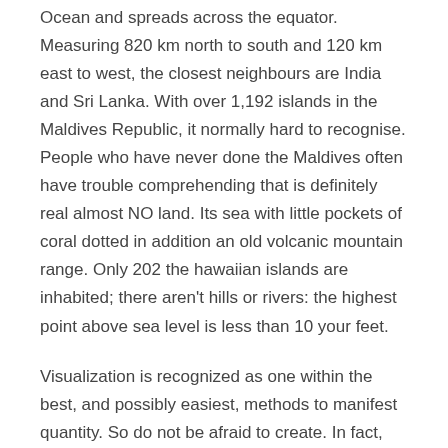Ocean and spreads across the equator. Measuring 820 km north to south and 120 km east to west, the closest neighbours are India and Sri Lanka. With over 1,192 islands in the Maldives Republic, it normally hard to recognise. People who have never done the Maldives often have trouble comprehending that is definitely real almost NO land. Its sea with little pockets of coral dotted in addition an old volcanic mountain range. Only 202 the hawaiian islands are inhabited; there aren't hills or rivers: the highest point above sea level is less than 10 your feet.
Visualization is recognized as one within the best, and possibly easiest, methods to manifest quantity. So do not be afraid to create. In fact, visualize often. For example, if you desire to go